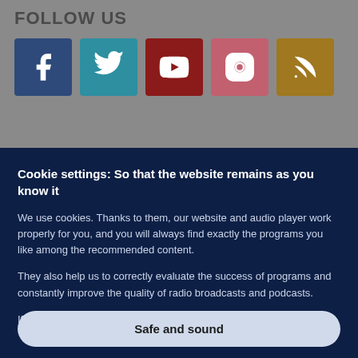FOLLOW US
[Figure (infographic): Row of social media icon buttons: Facebook (dark blue), Twitter (teal), YouTube (dark red), Instagram (pink-red), RSS (golden/tan)]
Cookie settings: So that the website remains as you know it
We use cookies. Thanks to them, our website and audio player work properly for you, and you will always find exactly the programs you like among the recommended content.
They also help us to correctly evaluate the success of programs and constantly improve the quality of radio broadcasts and podcasts.
If you are interested, you can read more in our Privacy Policy.
Safe and sound